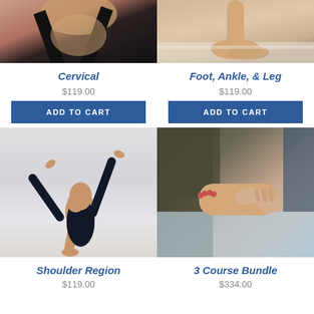[Figure (photo): Cropped photo of a person's neck/cervical area with black straps]
Cervical
$119.00
ADD TO CART
[Figure (photo): Cropped photo of a foot/ankle/leg area, likely wearing a ballet slipper]
Foot, Ankle, & Leg
$119.00
ADD TO CART
[Figure (photo): Photo of a male dancer balancing on one hand in a dramatic pose]
Shoulder Region
$119.00
[Figure (photo): Photo of a massage therapist working on a client's foot/leg]
3 Course Bundle
$334.00